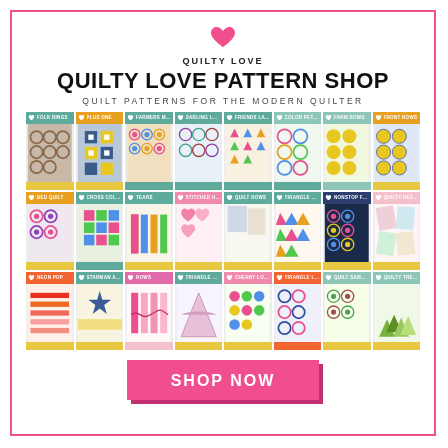[Figure (logo): Pink heart logo for Quilty Love]
QUILTY LOVE PATTERN SHOP
QUILT PATTERNS FOR THE MODERN QUILTER
[Figure (illustration): Grid of 24 quilt pattern book covers arranged in 3 rows of 8, each with a colored header and footer bar and a quilt pattern image]
SHOP NOW